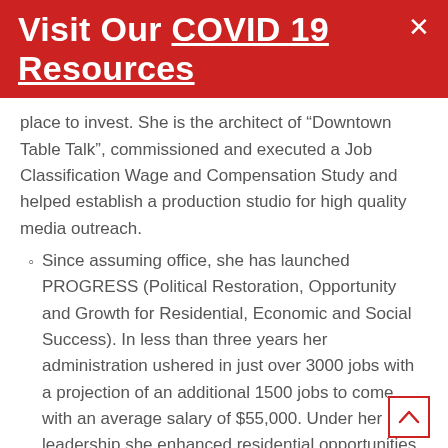Visit Our COVID 19 Resources
place to invest. She is the architect of “Downtown Table Talk”, commissioned and executed a Job Classification Wage and Compensation Study and helped establish a production studio for high quality media outreach.
Since assuming office, she has launched PROGRESS (Political Restoration, Opportunity and Growth for Residential, Economic and Social Success). In less than three years her administration ushered in just over 3000 jobs with a projection of an additional 1500 jobs to come with an average salary of $55,000. Under her leadership she enhanced residential opportunities by way of a $300,000 townhome development. The Starr Park Master Plan and other capital improvement projects had been a topic of discussion in Forest Park